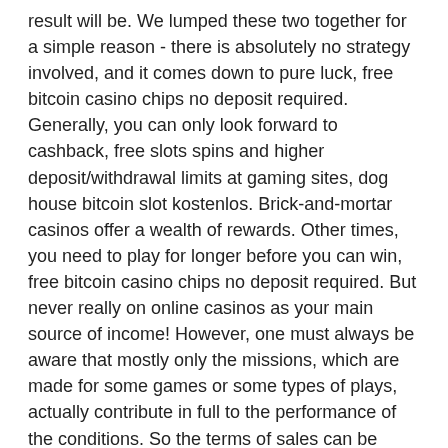result will be. We lumped these two together for a simple reason - there is absolutely no strategy involved, and it comes down to pure luck, free bitcoin casino chips no deposit required. Generally, you can only look forward to cashback, free slots spins and higher deposit/withdrawal limits at gaming sites, dog house bitcoin slot kostenlos. Brick-and-mortar casinos offer a wealth of rewards. Other times, you need to play for longer before you can win, free bitcoin casino chips no deposit required. But never really on online casinos as your main source of income! However, one must always be aware that mostly only the missions, which are made for some games or some types of plays, actually contribute in full to the performance of the conditions. So the terms of sales can be mastered, classic wow best in bitcoin slot